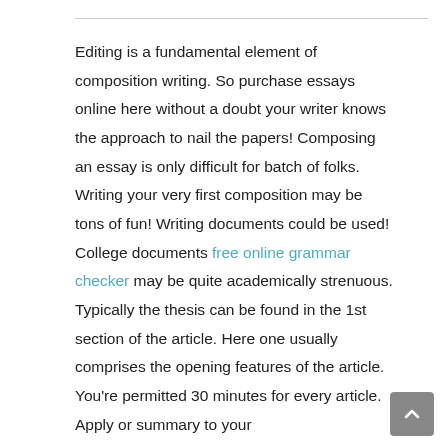Editing is a fundamental element of composition writing. So purchase essays online here without a doubt your writer knows the approach to nail the papers! Composing an essay is only difficult for batch of folks. Writing your very first composition may be tons of fun! Writing documents could be used! College documents free online grammar checker may be quite academically strenuous. Typically the thesis can be found in the 1st section of the article. Here one usually comprises the opening features of the article. You're permitted 30 minutes for every article. Apply or summary to your